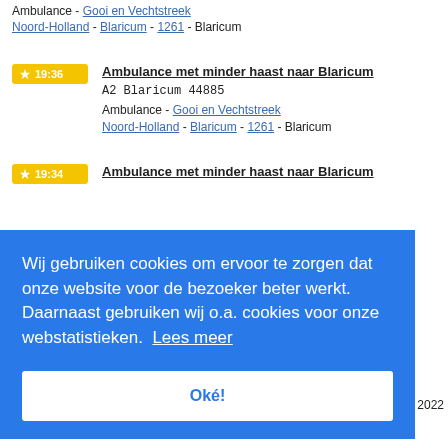Ambulance - Gooi en Vechtstreek
Noord-Holland - Blaricum - 1261 - Blaricum
19:36 Ambulance met minder haast naar Blaricum
A2 Blaricum 44885
Ambulance - Gooi en Vechtstreek
Noord-Holland - Blaricum - 1261 - Blaricum
19:34 Ambulance met minder haast naar Blaricum
Wij gebruiken cookies om ervoor te zorgen dat onze website voor de bezoeker beter werkt. Daarnaast gebruiken wij o.a. cookies voor onze webstatistieken. Lees meer
Oké!